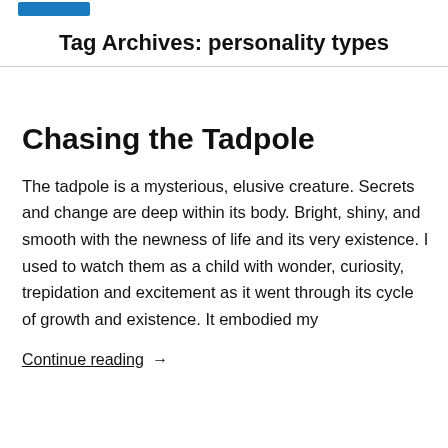Tag Archives: personality types
Chasing the Tadpole
The tadpole is a mysterious, elusive creature. Secrets and change are deep within its body. Bright, shiny, and smooth with the newness of life and its very existence. I used to watch them as a child with wonder, curiosity, trepidation and excitement as it went through its cycle of growth and existence. It embodied my
Continue reading →